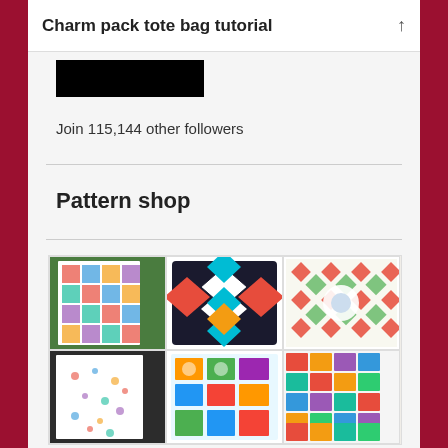Charm pack tote bag tutorial
[Figure (other): Black rectangular button or image placeholder]
Join 115,144 other followers
Pattern shop
[Figure (other): Grid of 6 quilt pattern shop images arranged in 2 rows of 3 columns. Top row: colorful star quilt hanging outside, black and white diamond pillow with teal and red accents, red and green geometric star quilt. Bottom row: white quilt with scattered colorful dots, blue sampler quilt with multiple blocks, grid of small colorful quilt thumbnails.]